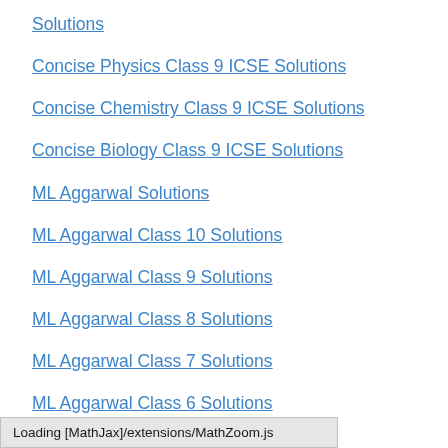Solutions
Concise Physics Class 9 ICSE Solutions
Concise Chemistry Class 9 ICSE Solutions
Concise Biology Class 9 ICSE Solutions
ML Aggarwal Solutions
ML Aggarwal Class 10 Solutions
ML Aggarwal Class 9 Solutions
ML Aggarwal Class 8 Solutions
ML Aggarwal Class 7 Solutions
ML Aggarwal Class 6 Solutions
HSSLive Plus One
HSSLive Plus Two
Loading [MathJax]/extensions/MathZoom.js